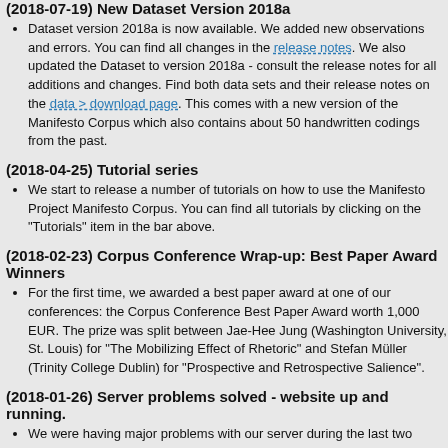(2018-07-19) New Dataset Version 2018a
Dataset version 2018a is now available. We added new observations and errors. You can find all changes in the release notes. We also updated the Dataset to version 2018a - consult the release notes for all additions and changes. Find both data sets and their release notes on the data > download page. This comes with a new version of the Manifesto Corpus which also contains about 50 handwritten codings from the past.
(2018-04-25) Tutorial series
We start to release a number of tutorials on how to use the Manifesto Project Manifesto Corpus. You can find all tutorials by clicking on the "Tutorials" item in the bar above.
(2018-02-23) Corpus Conference Wrap-up: Best Paper Award Winners
For the first time, we awarded a best paper award at one of our conferences: the Corpus Conference Best Paper Award worth 1,000 EUR. The prize was split between Jae-Hee Jung (Washington University, St. Louis) for "The Mobilizing Effect of Rhetoric" and Stefan Müller (Trinity College Dublin) for "Prospective and Retrospective Salience".
(2018-01-26) Server problems solved - website up and running.
We were having major problems with our server during the last two weeks, but these are solved now. If you are still facing problems, do not hesitate to contact manifesto-communication@wzb.eu. Sorry for the inconvenience.